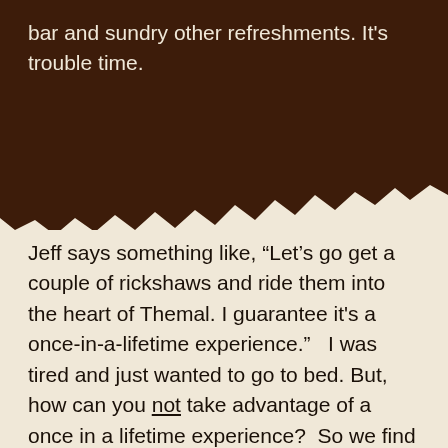bar and sundry other refreshments.  It's trouble time.
Jeff says something like, “Let’s go get a couple of rickshaws and ride them into the heart of Themal.  I guarantee it's a once-in-a-lifetime experience.”   I was tired and just wanted to go to bed.  But, how can you not take advantage of a once in a lifetime experience?  So we find our way to a crowded corner in Themal, rent a couple of rickshaws, and start rolling south into the heart of  Kathmandu. Only dogs and the occasional rickshaw driver are awake.  It’s dead quiet.  We roll along streets that just hours before were crowded with hundreds of